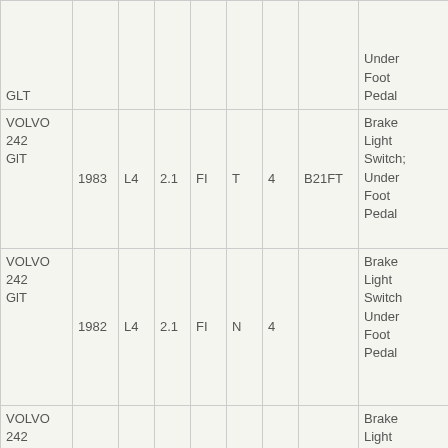| Make/Model | Year | Eng | Liters | Fuel | Trans | Cyl | Part# | Notes |
| --- | --- | --- | --- | --- | --- | --- | --- | --- |
| VOLVO 242 GLT |  |  |  |  |  |  |  | Under Foot Pedal |
| VOLVO 242 GLT | 1983 | L4 | 2.1 | FI | T | 4 | B21FT | Brake Light Switch; Under Foot Pedal |
| VOLVO 242 GLT | 1982 | L4 | 2.1 | FI | N | 4 |  | Brake Light Switch Under Foot Pedal |
| VOLVO 242 GLT | 1982 | L4 | 2.3 | FI | N | 8 |  | Brake Light Switch Under Foot Pedal |